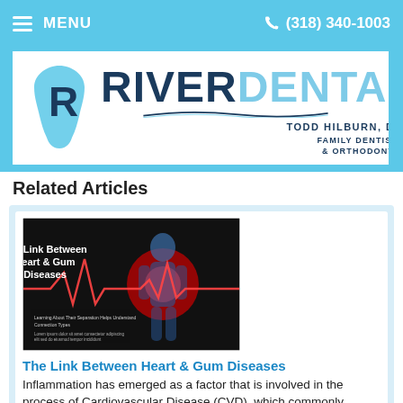MENU  (318) 340-1003
[Figure (logo): River Dental logo with tooth/R icon, waves, and text: RIVER DENTAL, TODD HILBURN, DDS, FAMILY DENTISTRY & ORTHODONTICS]
Related Articles
[Figure (photo): Medical infographic showing 'The Link Between Heart & Gum Diseases' with a human body illustration and EKG heartbeat line]
The Link Between Heart & Gum Diseases
Inflammation has emerged as a factor that is involved in the process of Cardiovascular Disease (CVD), which commonly results in heart attacks and strokes. While the precise role inflammation plays in causing chronic CVD